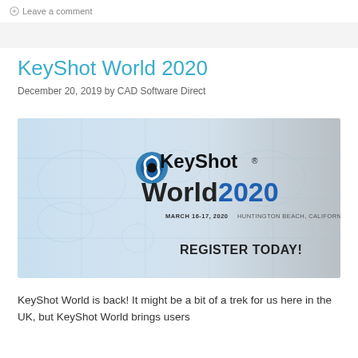Leave a comment
KeyShot World 2020
December 20, 2019 by CAD Software Direct
[Figure (illustration): KeyShot World 2020 event banner showing the KeyShot logo, text 'KeyShot World 2020', date 'MARCH 16-17, 2020 HUNTINGTON BEACH, CALIFORNIA', and 'REGISTER TODAY!' on a light blue world map background.]
KeyShot World is back! It might be a bit of a trek for us here in the UK, but KeyShot World brings users